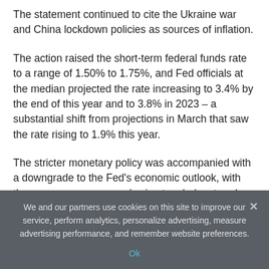The statement continued to cite the Ukraine war and China lockdown policies as sources of inflation.
The action raised the short-term federal funds rate to a range of 1.50% to 1.75%, and Fed officials at the median projected the rate increasing to 3.4% by the end of this year and to 3.8% in 2023 – a substantial shift from projections in March that saw the rate rising to 1.9% this year.
The stricter monetary policy was accompanied with a downgrade to the Fed's economic outlook, with the economy now seen slowing to a below-trend 1.7% rate of growth this year, unemployment rising to 3.7% by the end
We and our partners use cookies on this site to improve our service, perform analytics, personalize advertising, measure advertising performance, and remember website preferences.